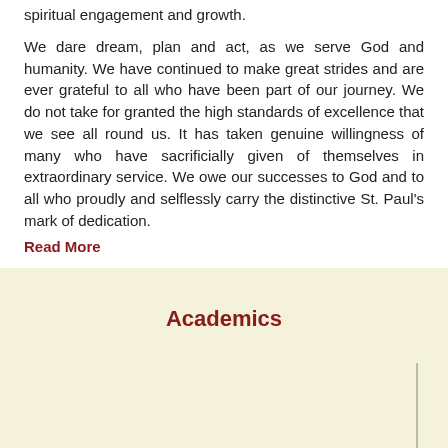spiritual engagement and growth.
We dare dream, plan and act, as we serve God and humanity. We have continued to make great strides and are ever grateful to all who have been part of our journey. We do not take for granted the high standards of excellence that we see all round us. It has taken genuine willingness of many who have sacrificially given of themselves in extraordinary service. We owe our successes to God and to all who proudly and selflessly carry the distinctive St. Paul's mark of dedication.
Read More
Academics